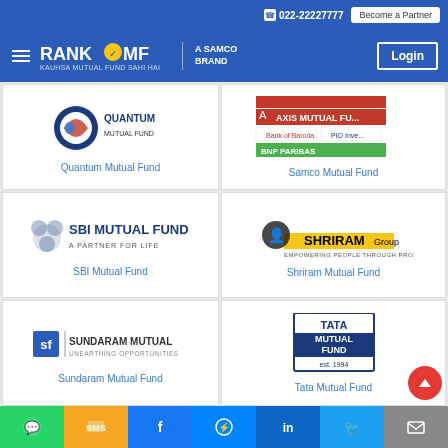022-22227777 | Become a Partner
[Figure (logo): RankMF - A Samco Brand logo with hamburger menu and Login button on blue navigation bar]
[Figure (logo): Quantum Mutual Fund logo]
Quantum Mutual Fund
[Figure (logo): Samco Mutual Fund logo area with Axis Mutual Fund, Bank of Baroda, PIO, BNP Paribas logos]
Samco Mutual Fund
[Figure (logo): SBI Mutual Fund - A Partner for Life logo]
SBI Mutual Fund
[Figure (logo): Shriram Group - Empowering People Through Prosperity logo]
Shriram Mutual Fund
[Figure (logo): Sundaram Mutual - Unearthing Opportunities logo]
Sundaram Mutual Fund
[Figure (logo): Tata Mutual Fund logo]
Tata Mutual Fund
Social sharing buttons: WhatsApp, SMS, Facebook, Messenger, LinkedIn, Twitter, Email